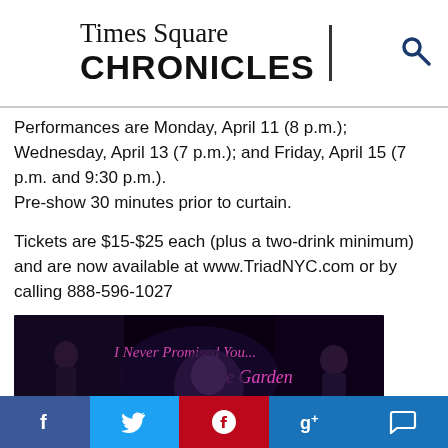Times Square CHRONICLES
Performances are Monday, April 11 (8 p.m.); Wednesday, April 13 (7 p.m.); and Friday, April 15 (7 p.m. and 9:30 p.m.).
Pre-show 30 minutes prior to curtain.
Tickets are $15-$25 each (plus a two-drink minimum) and are now available at www.TriadNYC.com or by calling 888-596-1027
[Figure (photo): Promotional image for 'I Never Promised You... Rose Garden' show at The Triad, showing performers on a dark stage with pink cursive title text and event details overlay.]
Social share bar: Facebook, Twitter, Pinterest, Google+, Comment